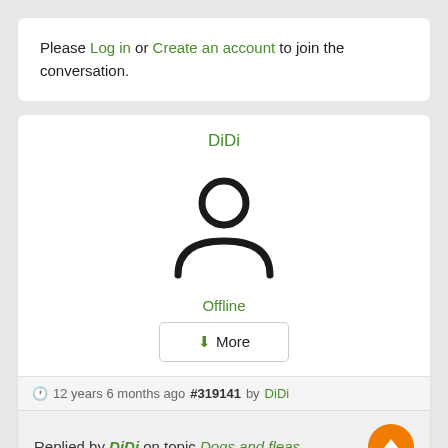Please Log in or Create an account to join the conversation.
DiDi
[Figure (illustration): Generic user avatar icon — circle head above a half-circle body outline, black strokes on white background]
Offline
↓More
🕐 12 years 6 months ago #319141 by DiDi
Replied by DiDi on topic Dogs and fleas
I'm aware that people are saying they are having